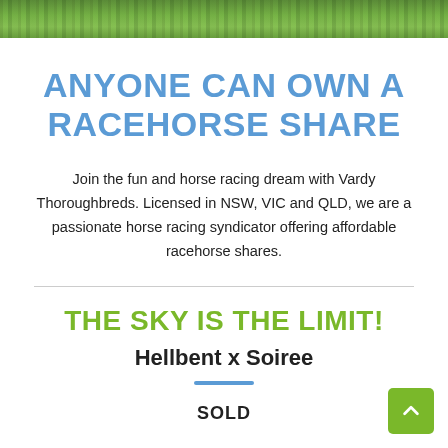[Figure (photo): Green grass/turf banner photo at the top of the page]
ANYONE CAN OWN A RACEHORSE SHARE
Join the fun and horse racing dream with Vardy Thoroughbreds. Licensed in NSW, VIC and QLD, we are a passionate horse racing syndicator offering affordable racehorse shares.
THE SKY IS THE LIMIT!
Hellbent x Soiree
SOLD